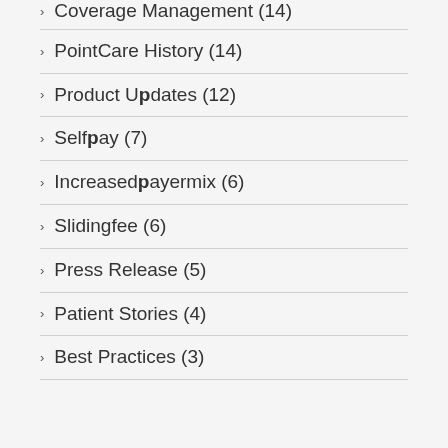Coverage Management (14)
PointCare History (14)
Product Updates (12)
Selfpay (7)
Increasedpayermix (6)
Slidingfee (6)
Press Release (5)
Patient Stories (4)
Best Practices (3)